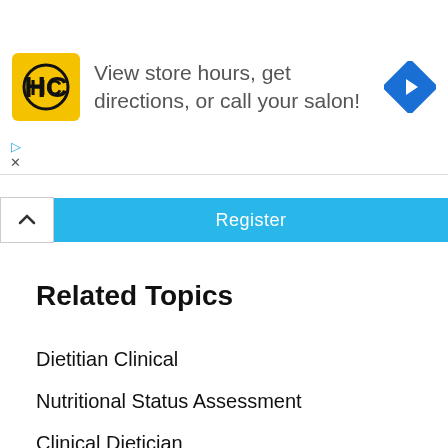[Figure (other): Advertisement banner with HC logo (yellow square), text 'View store hours, get directions, or call your salon!', and a blue diamond navigation arrow icon]
Register
Related Topics
Dietitian Clinical
Nutritional Status Assessment
Clinical Dietician
Clinical Dietitian Education
Clinical Dietetics
Nutrition Dietitian